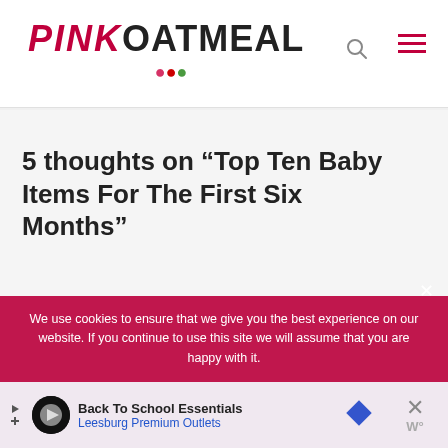PINK OATMEAL
5 thoughts on “Top Ten Baby Items For The First Six Months”
We use cookies to ensure that we give you the best experience on our website. If you continue to use this site we will assume that you are happy with it.
Back To School Essentials Leesburg Premium Outlets